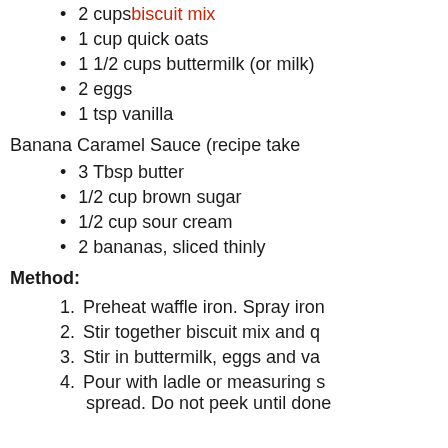2 cups biscuit mix
1 cup quick oats
1 1/2 cups buttermilk (or milk)
2 eggs
1 tsp vanilla
Banana Caramel Sauce (recipe take
3 Tbsp butter
1/2 cup brown sugar
1/2 cup sour cream
2 bananas, sliced thinly
Method:
Preheat waffle iron. Spray iron
Stir together biscuit mix and q
Stir in buttermilk, eggs and va
Pour with ladle or measuring s spread. Do not peek until done